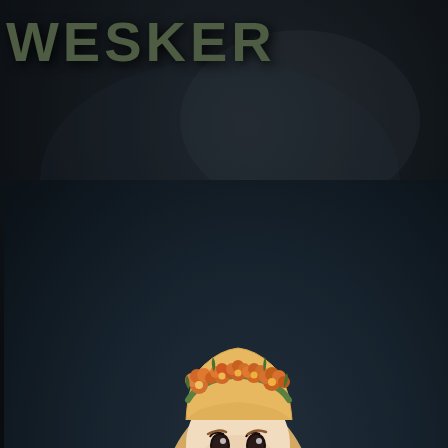WESKER
[Figure (illustration): Chibi-style illustrated character: a young girl with long blonde hair, flower crown with orange/red blossoms, wearing a pink floral top, denim shorts, brown sandals with floral detail, and a teal pendant necklace. Wrist accessories. Standing pose on a dark blue-grey textured background.]
[Figure (illustration): Thumbnail image: dark creature character labeled Verdugo]
Verdugo
[Figure (illustration): Thumbnail image: fantasy creature with jewelry labeled Oranos]
Oranos
[Figure (illustration): Thumbnail image: dark blue creature labeled Pylot]
Pylot
[Figure (illustration): Thumbnail image: dark creature with yellow eyes labeled Arturo]
Arturo
[Figure (illustration): Thumbnail image: orange/red creature, partially visible]
[Figure (illustration): Thumbnail image: dark blue/grey creature, partially visible]
Leave a Comment